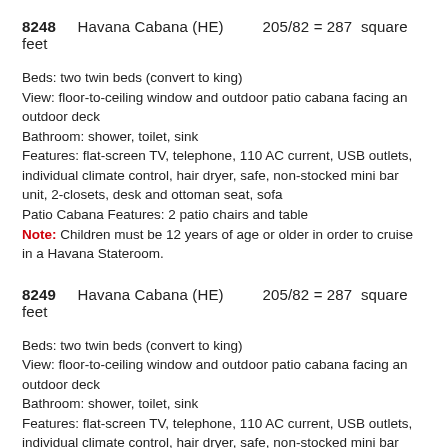8248    Havana Cabana (HE)         205/82 = 287  square feet
Beds: two twin beds (convert to king)
View: floor-to-ceiling window and outdoor patio cabana facing an outdoor deck
Bathroom: shower, toilet, sink
Features: flat-screen TV, telephone, 110 AC current, USB outlets, individual climate control, hair dryer, safe, non-stocked mini bar unit, 2-closets, desk and ottoman seat, sofa
Patio Cabana Features: 2 patio chairs and table
Note: Children must be 12 years of age or older in order to cruise in a Havana Stateroom.
8249    Havana Cabana (HE)         205/82 = 287  square feet
Beds: two twin beds (convert to king)
View: floor-to-ceiling window and outdoor patio cabana facing an outdoor deck
Bathroom: shower, toilet, sink
Features: flat-screen TV, telephone, 110 AC current, USB outlets, individual climate control, hair dryer, safe, non-stocked mini bar unit, 2-closets, desk and ottoman seat, sofa